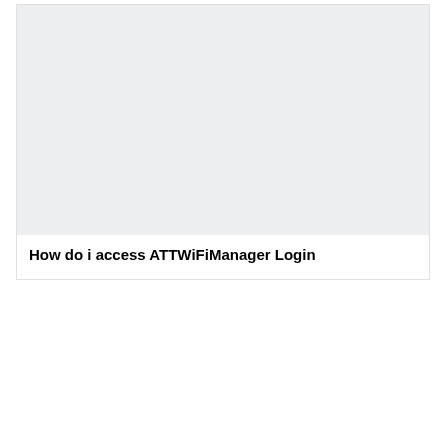[Figure (other): Light gray rectangular image placeholder area]
How do i access ATTWiFiManager Login